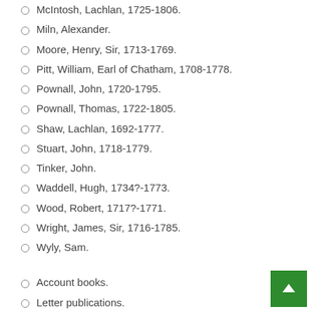McIntosh, Lachlan, 1725-1806.
Miln, Alexander.
Moore, Henry, Sir, 1713-1769.
Pitt, William, Earl of Chatham, 1708-1778.
Pownall, John, 1720-1795.
Pownall, Thomas, 1722-1805.
Shaw, Lachlan, 1692-1777.
Stuart, John, 1718-1779.
Tinker, John.
Waddell, Hugh, 1734?-1773.
Wood, Robert, 1717?-1771.
Wright, James, Sir, 1716-1785.
Wyly, Sam.
Account books.
Letter publications.
Letters (communication)
Maps.
Treaties.